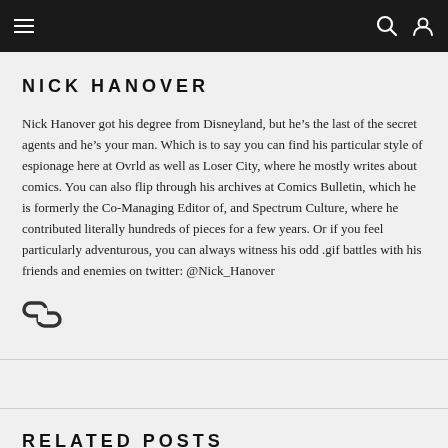Navigation bar with menu, search, and user icons
NICK HANOVER
Nick Hanover got his degree from Disneyland, but he’s the last of the secret agents and he’s your man. Which is to say you can find his particular style of espionage here at Ovrld as well as Loser City, where he mostly writes about comics. You can also flip through his archives at Comics Bulletin, which he is formerly the Co-Managing Editor of, and Spectrum Culture, where he contributed literally hundreds of pieces for a few years. Or if you feel particularly adventurous, you can always witness his odd .gif battles with his friends and enemies on twitter: @Nick_Hanover
[Figure (illustration): Social/link chain icons in dark color]
RELATED POSTS